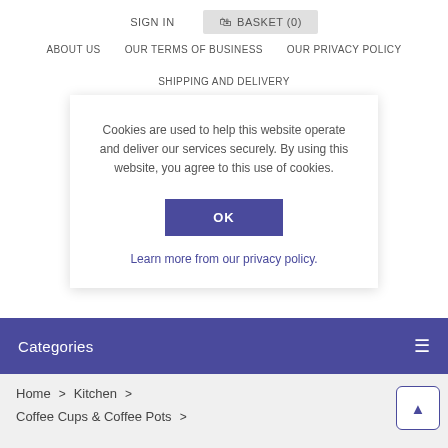SIGN IN  BASKET (0)  ABOUT US  OUR TERMS OF BUSINESS  OUR PRIVACY POLICY  SHIPPING AND DELIVERY
Cookies are used to help this website operate and deliver our services securely. By using this website, you agree to this use of cookies.
OK
Learn more from our privacy policy.
Categories
Home > Kitchen > Coffee Cups & Coffee Pots >